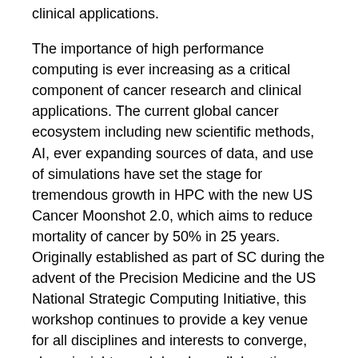clinical applications.
The importance of high performance computing is ever increasing as a critical component of cancer research and clinical applications. The current global cancer ecosystem including new scientific methods, AI, ever expanding sources of data, and use of simulations have set the stage for tremendous growth in HPC with the new US Cancer Moonshot 2.0, which aims to reduce mortality of cancer by 50% in 25 years. Originally established as part of SC during the advent of the Precision Medicine and the US National Strategic Computing Initiative, this workshop continues to provide a key venue for all disciplines and interests to converge, share insights, and develop collaborations where HPC and computational approaches will advance the frontiers of cancer research and cancer care.
Over the past eight years, the CAFCW has brought